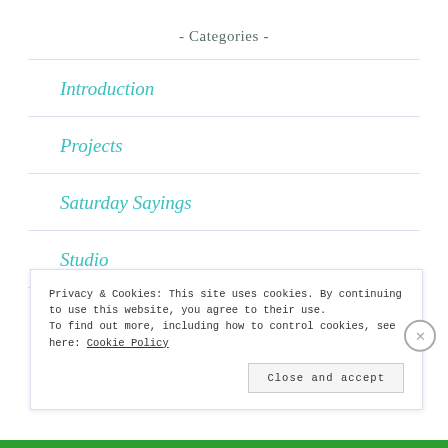- Categories -
Introduction
Projects
Saturday Sayings
Studio
Thoughts & Memories (partial, cut off)
Privacy & Cookies: This site uses cookies. By continuing to use this website, you agree to their use.
To find out more, including how to control cookies, see here: Cookie Policy
Close and accept